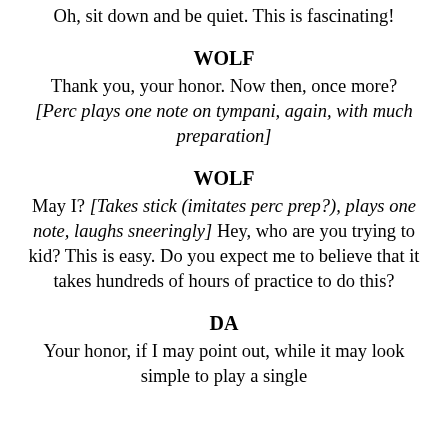Oh, sit down and be quiet. This is fascinating!
WOLF
Thank you, your honor. Now then, once more? [Perc plays one note on tympani, again, with much preparation]
WOLF
May I? [Takes stick (imitates perc prep?), plays one note, laughs sneeringly] Hey, who are you trying to kid? This is easy. Do you expect me to believe that it takes hundreds of hours of practice to do this?
DA
Your honor, if I may point out, while it may look simple to play a single